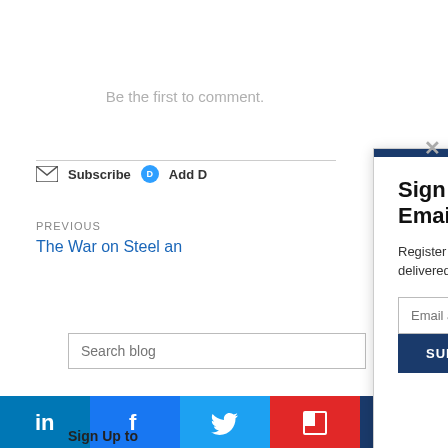Be the first to comment.
Subscribe  Add D
PREVIOUS
The War on Steel an
Search blog
Sign Up to our HVAC Email Newsletters
Register now to receive HVAC design and application tips that are not brand specific, delivered approximately twice per month.
Email address here
SUBSCRIBE
Sign Up to